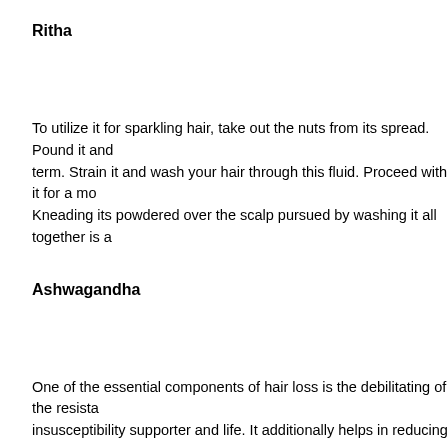Ritha
To utilize it for sparkling hair, take out the nuts from its spread. Pound it and term. Strain it and wash your hair through this fluid. Proceed with it for a mo Kneading its powdered over the scalp pursued by washing it all together is a
Ashwagandha
One of the essential components of hair loss is the debilitating of the resista insusceptibility supporter and life. It additionally helps in reducing pressure o
Methi
Prepare a blend of Methi (2 tsp), green gram (2 tsp), soap nuts (3 tsp), lemo well. One can utilize this blend as a cleanser. This is one of the successfu